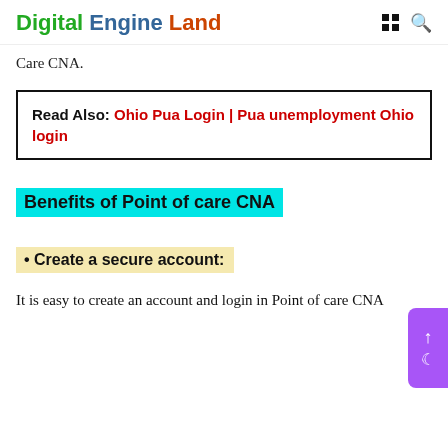Digital Engine Land
Care CNA.
Read Also: Ohio Pua Login | Pua unemployment Ohio login
Benefits of Point of care CNA
• Create a secure account:
It is easy to create an account and login in Point of care CNA